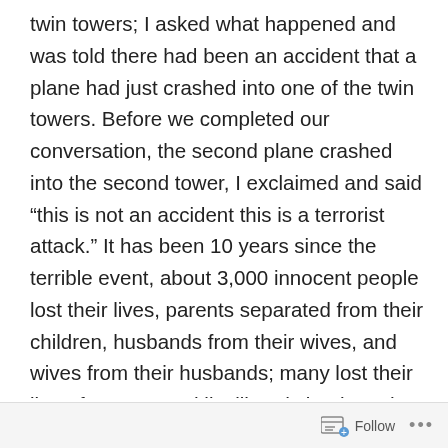twin towers; I asked what happened and was told there had been an accident that a plane had just crashed into one of the twin towers. Before we completed our conversation, the second plane crashed into the second tower, I exclaimed and said “this is not an accident this is a terrorist attack.” It has been 10 years since the terrible event, about 3,000 innocent people lost their lives, parents separated from their children, husbands from their wives, and wives from their husbands; many lost their line of support and livelihoods but how do we remember them? As of this day, many first responders are finding it difficult to receive proper medical care for the injuries sustained. Some cases of cancer have been linked to the dusts inhaled as the twin towers came down, responders and their families continue to battle with insurance companies
Follow